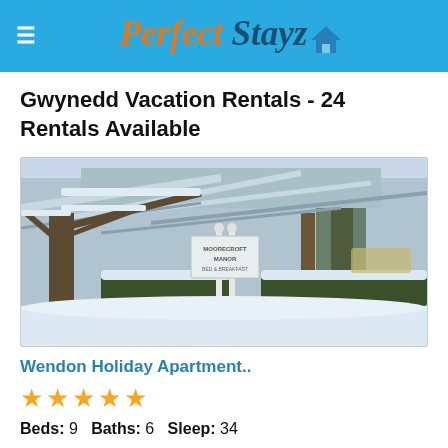Perfect Stayz
Gwynedd Vacation Rentals - 24 Rentals Available
[Figure (photo): Winter snow scene with snow-covered trees and a white sign reading 'Moorecroft Manor Bed & Breakfast' in front of a hedgerow, parking lot visible in background]
Wendon Holiday Apartment..
★★★★★
Beds: 9   Baths: 6   Sleep: 34